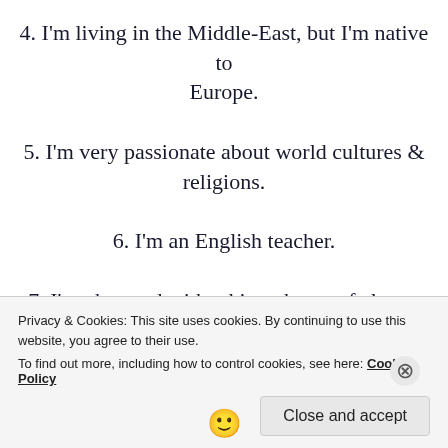4. I'm living in the Middle-East, but I'm native to Europe.
5. I'm very passionate about world cultures & religions.
6. I'm an English teacher.
7. I'm obsessed with taking photos of almost everything I see.
[Figure (other): Smiley face emoji 🙂]
Privacy & Cookies: This site uses cookies. By continuing to use this website, you agree to their use. To find out more, including how to control cookies, see here: Cookie Policy